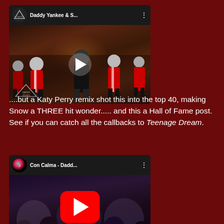[Figure (screenshot): YouTube video thumbnail for Daddy Yankee & S... with Cartel Records branding showing marching band dancers in red and white uniforms, with a play button overlay]
....but a Katy Perry remix shot this into the top 40, making Snow a THREE hit wonder..... and this a Hall of Fame post. See if you can catch all the callbacks to Teenage Dream.
[Figure (screenshot): YouTube video thumbnail for Con Calma - Dadd... with TikTok channel icon, showing crowd of people dancing with a red YouTube play button overlay]